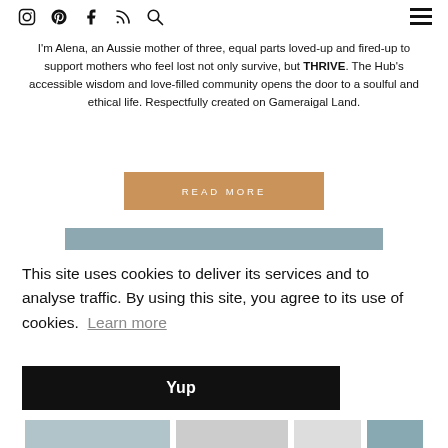Navigation icons: Instagram, Pinterest, Facebook, RSS, Search, Hamburger menu
I'm Alena, an Aussie mother of three, equal parts loved-up and fired-up to support mothers who feel lost not only survive, but THRIVE. The Hub's accessible wisdom and love-filled community opens the door to a soulful and ethical life. Respectfully created on Gameraigal Land.
[Figure (other): READ MORE button — amber/tan colored rectangular button with white spaced text 'READ MORE']
[Figure (other): Horizontal muted teal/slate blue decorative bar]
This site uses cookies to deliver its services and to analyse traffic. By using this site, you agree to its use of cookies.  Learn more
[Figure (other): Black 'Yup' button for cookie consent]
[Figure (other): Partial thumbnail images row at bottom of page]